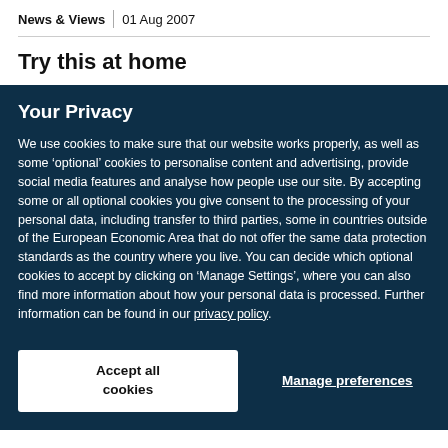News & Views | 01 Aug 2007
Try this at home
Your Privacy
We use cookies to make sure that our website works properly, as well as some ‘optional’ cookies to personalise content and advertising, provide social media features and analyse how people use our site. By accepting some or all optional cookies you give consent to the processing of your personal data, including transfer to third parties, some in countries outside of the European Economic Area that do not offer the same data protection standards as the country where you live. You can decide which optional cookies to accept by clicking on ‘Manage Settings’, where you can also find more information about how your personal data is processed. Further information can be found in our privacy policy.
Accept all cookies
Manage preferences